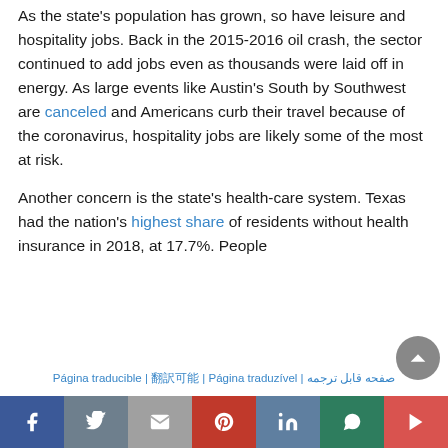As the state's population has grown, so have leisure and hospitality jobs. Back in the 2015-2016 oil crash, the sector continued to add jobs even as thousands were laid off in energy. As large events like Austin's South by Southwest are canceled and Americans curb their travel because of the coronavirus, hospitality jobs are likely some of the most at risk.
Another concern is the state's health-care system. Texas had the nation's highest share of residents without health insurance in 2018, at 17.7%. People
Página traducible | 翻訳可能 | Página traduzível | صفحه قابل ترجمه